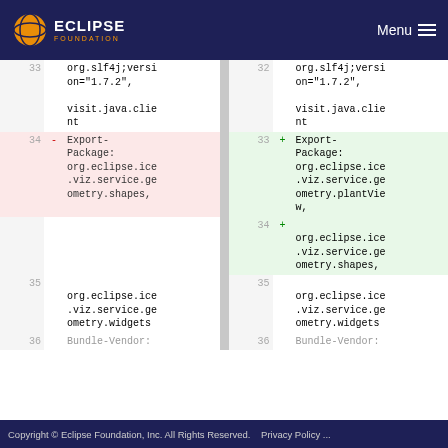ECLIPSE FOUNDATION  Menu
| Line (old) | Marker | Code (old) | Sep | Line (new) | Marker | Code (new) |
| --- | --- | --- | --- | --- | --- | --- |
| 33 |  | org.slf4j;version="1.7.2",
visit.java.client | 32 |  | org.slf4j;version="1.7.2",
visit.java.client |
| 34 | - | Export-Package: org.eclipse.ice.viz.service.geometry.shapes, | 33 | + | Export-Package: org.eclipse.ice.viz.service.geometry.plantView, |
|  |  |  | 34 | + | org.eclipse.ice.viz.service.geometry.shapes, |
| 35 |  | org.eclipse.ice.viz.service.geometry.widgets | 35 |  | org.eclipse.ice.viz.service.geometry.widgets |
| 36 |  | Bundle-Vendor: | 36 |  | Bundle-Vendor: |
Copyright © Eclipse Foundation, Inc. All Rights Reserved.    Privacy Policy ...